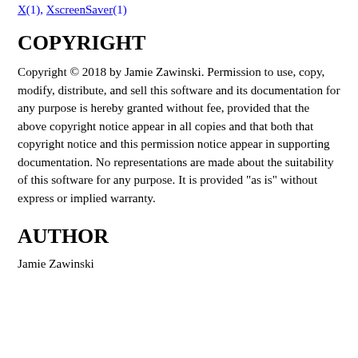X(1), XscreenSaver(1)
COPYRIGHT
Copyright © 2018 by Jamie Zawinski. Permission to use, copy, modify, distribute, and sell this software and its documentation for any purpose is hereby granted without fee, provided that the above copyright notice appear in all copies and that both that copyright notice and this permission notice appear in supporting documentation. No representations are made about the suitability of this software for any purpose. It is provided "as is" without express or implied warranty.
AUTHOR
Jamie Zawinski